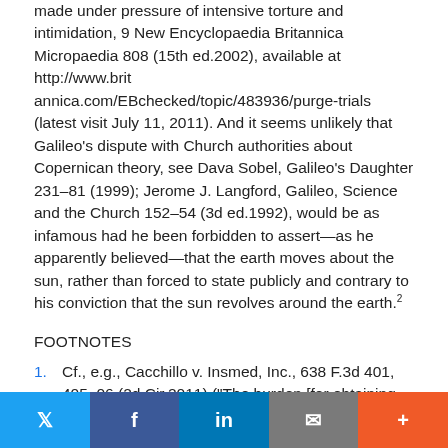made under pressure of intensive torture and intimidation, 9 New Encyclopaedia Britannica Micropaedia 808 (15th ed.2002), available at http://www.britannica.com/EBchecked/topic/483936/purge-trials (latest visit July 11, 2011). And it seems unlikely that Galileo's dispute with Church authorities about Copernican theory, see Dava Sobel, Galileo's Daughter 231–81 (1999); Jerome J. Langford, Galileo, Science and the Church 152–54 (3d ed.1992), would be as infamous had he been forbidden to assert—as he apparently believed—that the earth moves about the sun, rather than forced to state publicly and contrary to his conviction that the sun revolves around the earth.2
FOOTNOTES
1.  Cf., e.g., Cacchillo v. Insmed, Inc., 638 F.3d 401, 405–06 (2d Cir.2011) ("The burden [for obtaining an injunction] is